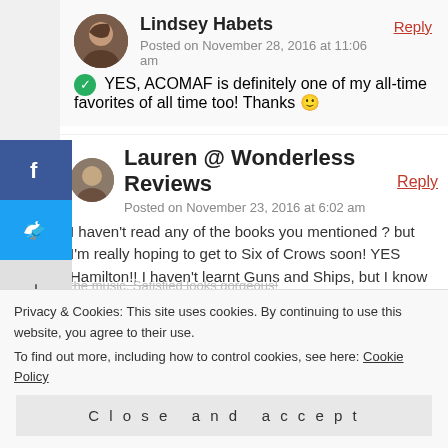[Figure (other): Social media share sidebar with Facebook (blue), Twitter (light blue), and plus (+) grey buttons on the left edge]
Lindsey Habets
Posted on November 28, 2016 at 11:06 am
YES, ACOMAF is definitely one of my all-time favorites of all time too! Thanks 🙂
Reply
Lauren @ Wonderless Reviews
Posted on November 23, 2016 at 6:02 am
I haven't read any of the books you mentioned ? but I'm really hoping to get to Six of Crows soon! YES Hamilton!! I haven't learnt Guns and Ships, but I know Satisfied off by
Reply
Privacy & Cookies: This site uses cookies. By continuing to use this website, you agree to their use.
To find out more, including how to control cookies, see here: Cookie Policy
Close and accept
the music. Satisfied looks gorgeous!